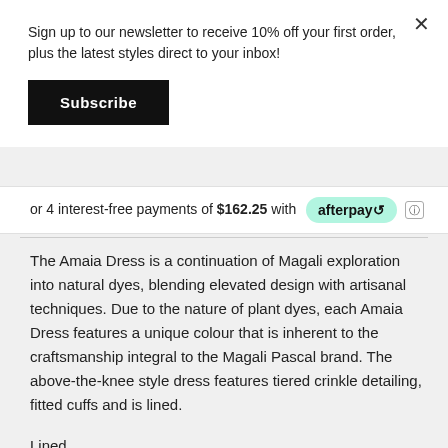Sign up to our newsletter to receive 10% off your first order, plus the latest styles direct to your inbox!
Subscribe
or 4 interest-free payments of $162.25 with afterpay
The Amaia Dress is a continuation of Magali exploration into natural dyes, blending elevated design with artisanal techniques. Due to the nature of plant dyes, each Amaia Dress features a unique colour that is inherent to the craftsmanship integral to the Magali Pascal brand. The above-the-knee style dress features tiered crinkle detailing, fitted cuffs and is lined.
Lined
Ombre